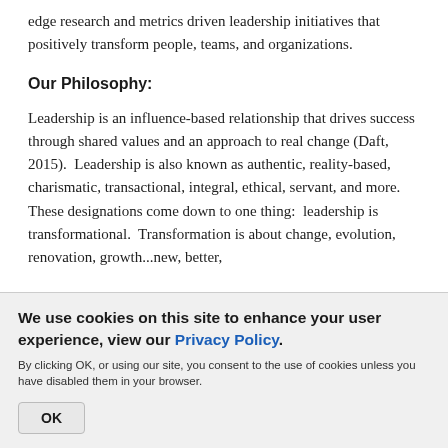edge research and metrics driven leadership initiatives that positively transform people, teams, and organizations.
Our Philosophy:
Leadership is an influence-based relationship that drives success through shared values and an approach to real change (Daft, 2015).  Leadership is also known as authentic, reality-based, charismatic, transactional, integral, ethical, servant, and more.  These designations come down to one thing:  leadership is transformational.  Transformation is about change, evolution, renovation, growth...new, better,
We use cookies on this site to enhance your user experience, view our Privacy Policy.
By clicking OK, or using our site, you consent to the use of cookies unless you have disabled them in your browser.
OK